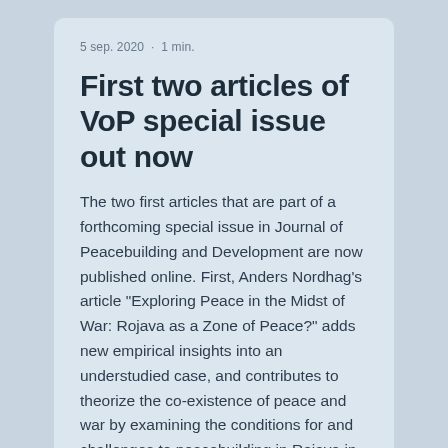5 sep. 2020 · 1 min.
First two articles of VoP special issue out now
The two first articles that are part of a forthcoming special issue in Journal of Peacebuilding and Development are now published online. First, Anders Nordhag's article "Exploring Peace in the Midst of War: Rojava as a Zone of Peace?" adds new empirical insights into an understudied case, and contributes to theorize the co-existence of peace and war by examining the conditions for and challenges to peacebuilding in Rojava in the midst of the Syrian war. Second, Gillian Howel
0